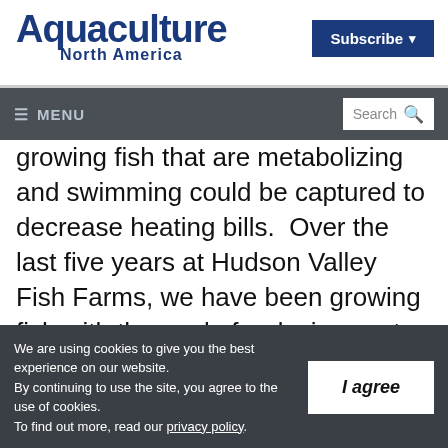Aquaculture North America
Subscribe
≡ MENU  Search
growing fish that are metabolizing and swimming could be captured to decrease heating bills.  Over the last five years at Hudson Valley Fish Farms, we have been growing fish with the goal of reducing costs by eventually developing these streams at scale.
We are using cookies to give you the best experience on our website.
By continuing to use the site, you agree to the use of cookies.
To find out more, read our privacy policy.